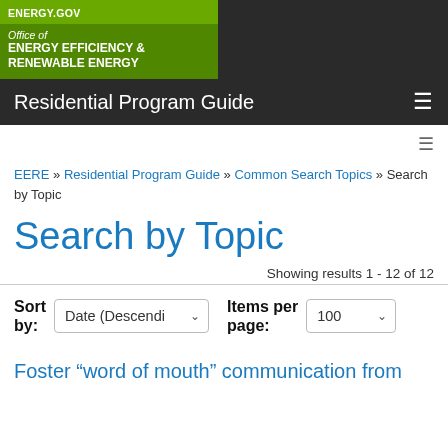ENERGY.GOV | Office of ENERGY EFFICIENCY & RENEWABLE ENERGY | Residential Program Guide
EERE » Residential Program Guide » Common Search Topics » Search by Topic
Search by Topic
Showing results 1 - 12 of 12
Sort by: Date (Descending)   Items per page: 100
Foster “word of mouth” communication from